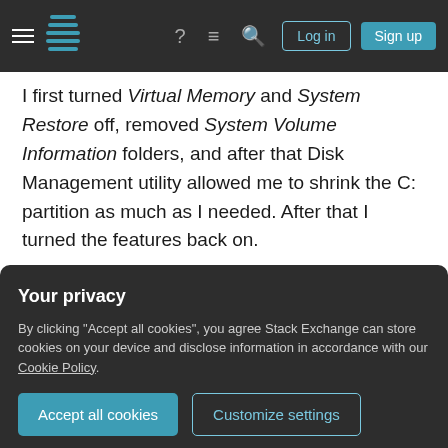Stack Exchange navigation bar with hamburger menu, logo, help, chat, search icons, Log in and Sign up buttons
I first turned Virtual Memory and System Restore off, removed System Volume Information folders, and after that Disk Management utility allowed me to shrink the C: partition as much as I needed. After that I turned the features back on.
The following instructions may help you to identify what application or component is preventing your partition to shrink. First you need to find the latest event with ID 259 in the Windows Event Log (see Event Viewer / Windows Logs / Application). The
Your privacy
By clicking "Accept all cookies", you agree Stack Exchange can store cookies on your device and disclose information in accordance with our Cookie Policy.
defragmentation utility. The event tells you the last